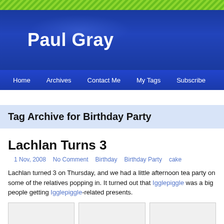Paul Gray
Tag Archive for Birthday Party
Lachlan Turns 3
1 Nov, 2008  No Comment  Birthday  Birthday Party  cake
Lachlan turned 3 on Thursday, and we had a little afternoon tea party on some of the relatives popping in. It turned out that Igglepiggle was a big people getting Igglepiggle-related presents.
[Figure (photo): Three placeholder image boxes at bottom of page]